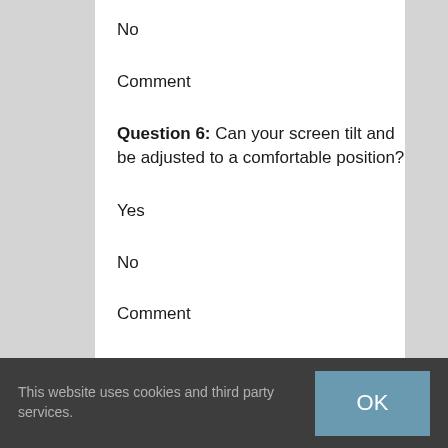No
Comment
Question 6:  Can your screen tilt and be adjusted to a comfortable position?
Yes
No
Comment
Question 7:  Is your screen free of reflection? E.g. windows, overhead lighting?
This website uses cookies and third party services.